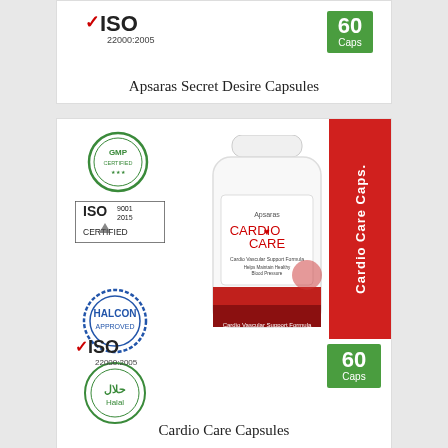[Figure (photo): Top product card showing ISO 22000:2005 certification, 60 Caps badge, and product name Apsaras Secret Desire Capsules]
Apsaras Secret Desire Capsules
[Figure (photo): Bottom product card for Cardio Care Capsules showing GMP certified, ISO 9001:2015 Certified, Halcon, Halal, ISO 22000:2005 badges, bottle image, red sidebar with Cardio Care Caps. text, and 60 Caps badge]
Cardio Care Capsules